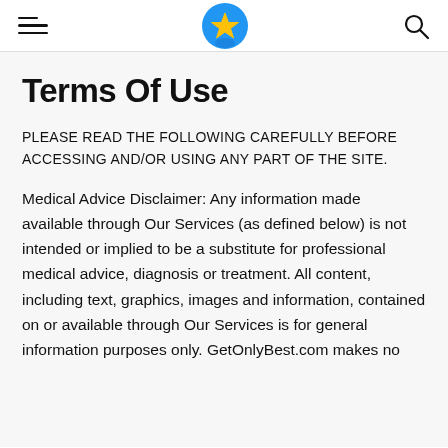[Navigation bar with hamburger menu, star logo, and search icon]
Terms Of Use
PLEASE READ THE FOLLOWING CAREFULLY BEFORE ACCESSING AND/OR USING ANY PART OF THE SITE.
Medical Advice Disclaimer: Any information made available through Our Services (as defined below) is not intended or implied to be a substitute for professional medical advice, diagnosis or treatment. All content, including text, graphics, images and information, contained on or available through Our Services is for general information purposes only. GetOnlyBest.com makes no